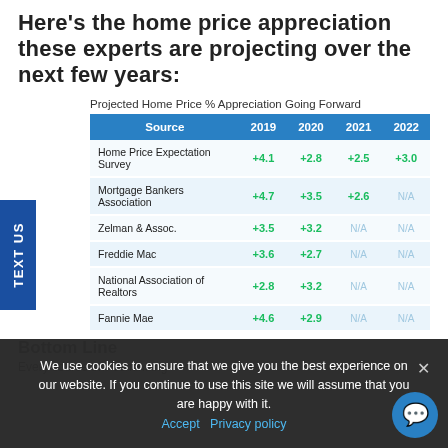Here's the home price appreciation these experts are projecting over the next few years:
Projected Home Price % Appreciation Going Forward
| Source | 2019 | 2020 | 2021 | 2022 |
| --- | --- | --- | --- | --- |
| Home Price Expectation Survey | +4.1 | +2.8 | +2.5 | +3.0 |
| Mortgage Bankers Association | +4.7 | +3.5 | +2.6 | N/A |
| Zelman & Assoc. | +3.5 | +3.2 | N/A | N/A |
| Freddie Mac | +3.6 | +2.7 | N/A | N/A |
| National Association of Realtors | +2.8 | +3.2 | N/A | N/A |
| Fannie Mae | +4.6 | +2.9 | N/A | N/A |
Bottom Line
Every source s… continuing
We use cookies to ensure that we give you the best experience on our website. If you continue to use this site we will assume that you are happy with it.